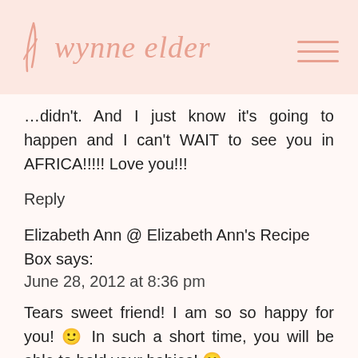wynne elder
…didn't. And I just know it's going to happen and I can't WAIT to see you in AFRICA!!!!! Love you!!!
Reply
Elizabeth Ann @ Elizabeth Ann's Recipe Box says:
June 28, 2012 at 8:36 pm
Tears sweet friend! I am so so happy for you! 🙂 In such a short time, you will be able to hold your babies! 🙂
Reply